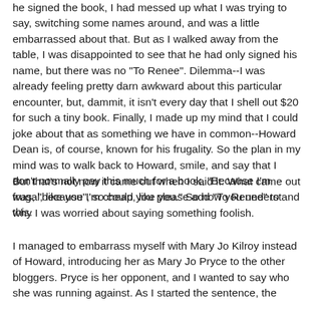he signed the book, I had messed up what I was trying to say, switching some names around, and was a little embarrassed about that. But as I walked away from the table, I was disappointed to see that he had only signed his name, but there was no "To Renee". Dilemma--I was already feeling pretty darn awkward about this particular encounter, but, dammit, it isn't every day that I shell out $20 for such a tiny book. Finally, I made up my mind that I could joke about that as something we have in common--Howard Dean is, of course, known for his frugality. So the plan in my mind was to walk back to Howard, smile, and say that I don't normally pay this much for a book, "Because I'm frugal, like you", so could you please add "To Renee" to this.
But that's not now it came out when I said it. What came out was, "because I'm cheap, like you." So now you understand why I was worried about saying something foolish.
I managed to embarrass myself with Mary Jo Kilroy instead of Howard, introducing her as Mary Jo Pryce to the other bloggers. Pryce is her opponent, and I wanted to say who she was running against. As I started the sentence, the